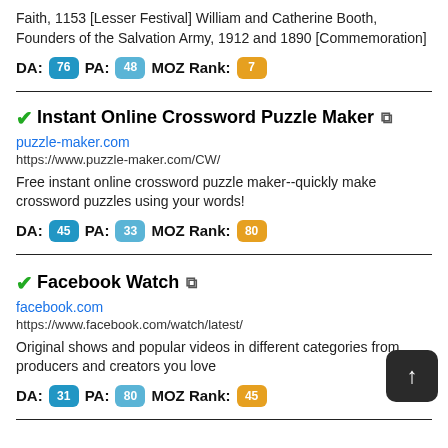Faith, 1153 [Lesser Festival] William and Catherine Booth, Founders of the Salvation Army, 1912 and 1890 [Commemoration]
DA: 76  PA: 48  MOZ Rank: 7
Instant Online Crossword Puzzle Maker
puzzle-maker.com
https://www.puzzle-maker.com/CW/
Free instant online crossword puzzle maker--quickly make crossword puzzles using your words!
DA: 45  PA: 33  MOZ Rank: 80
Facebook Watch
facebook.com
https://www.facebook.com/watch/latest/
Original shows and popular videos in different categories from producers and creators you love
DA: 31  PA: 80  MOZ Rank: 45